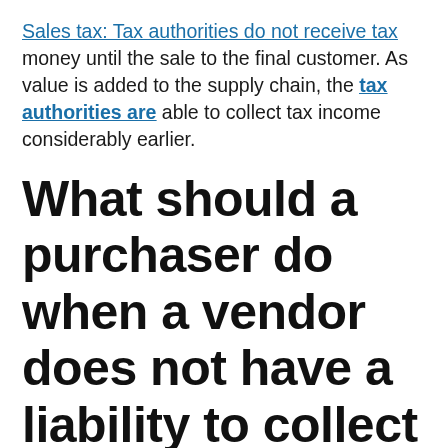Sales tax: Tax authorities do not receive tax money until the sale to the final customer. As value is added to the supply chain, the tax authorities are able to collect tax income considerably earlier.
What should a purchaser do when a vendor does not have a liability to collect tax, or to collect tax on specific items, as